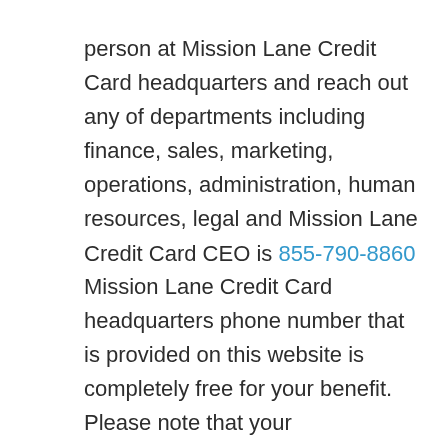person at Mission Lane Credit Card headquarters and reach out any of departments including finance, sales, marketing, operations, administration, human resources, legal and Mission Lane Credit Card CEO is 855-790-8860
Mission Lane Credit Card headquarters phone number that is provided on this website is completely free for your benefit. Please note that your communication provider company may charge you with accordance to your phone contract. This Mission Lane Credit Card headquarters